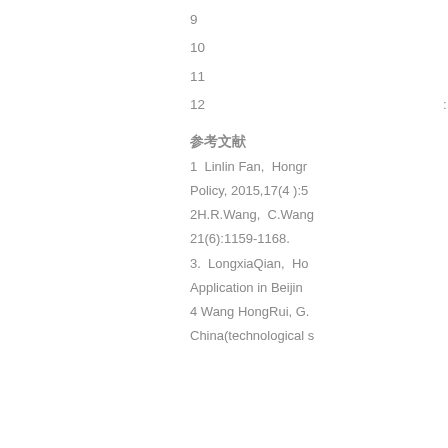9
10
11
12　　　　　　　　　　　　　　　　　:
参考文献
1  Linlin Fan, Hongr
Policy, 2015,17(4 ):5
2H.R.Wang, C.Wang
21(6):1159-1168.
3.  LongxiaQian,  Ho
Application in Beijin
4 Wang HongRui, G.
China(technological s